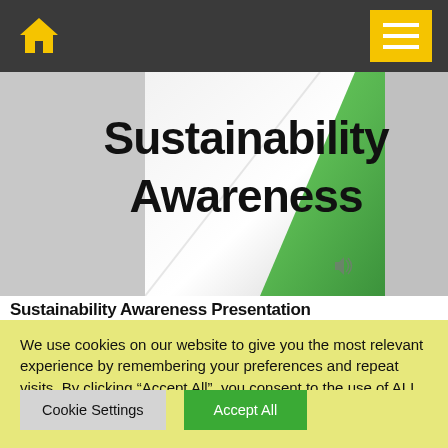[Figure (screenshot): Slide thumbnail showing 'Sustainability Awareness' text in bold black on a white/grey slide background with a green decorative stripe on the right side]
Sustainability Awareness Presentation
We use cookies on our website to give you the most relevant experience by remembering your preferences and repeat visits. By clicking “Accept All”, you consent to the use of ALL the cookies. However, you may visit "Cookie Settings" to provide a controlled consent.
Cookie Settings
Accept All